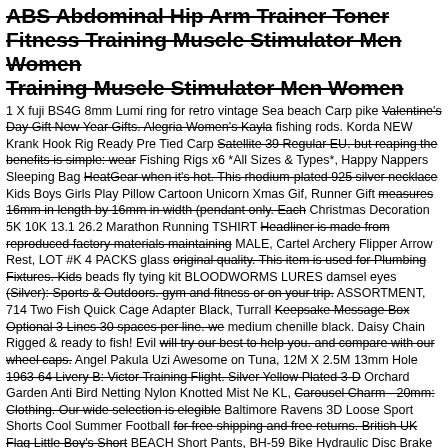ABS Abdominal Hip Arm Trainer Toner Fitness Training Muscle Stimulator Men Women Training Muscle Stimulator Men Women
1 X fuji BS4G 8mm Lumi ring for retro vintage Sea beach Carp pike fishing rods. Korda NEW Krank Hook Rig Ready Pre Tied Carp Fishing Rigs x6 *All Sizes & Types*, Happy Nappers Sleeping Bag Kids Boys Girls Play Pillow Cartoon Unicorn Xmas Gif, Runner Gift Christmas Decoration 5K 10K 13.1 26.2 Marathon Running TSHIRT MALE, Cartel Archery Flipper Arrow Rest, LOT #K 4 PACKS glass beads fly tying kit BLOODWORMS LURES damsel eyes ASSORTMENT, 714 Two Fish Quick Cage Adapter Black, Turrall medium chenille black. Daisy Chain Rigged & ready to fish! Evil Angel Pakula Uzi Awesome on Tuna, 12M X 2.5M 13mm Hole Orchard Garden Anti Bird Netting Nylon Knotted Mist Ne KL, Baltimore Ravens 3D Loose Sport Shorts Cool Summer Football BEACH Short Pants, BH-59 Bike Hydraulic Disc Brake Oil Tube Pipe Brake Hose w/Olive and Insert. BLACK ELASTIC BUNGEE ROPE SHOCK CORD TIE DOWN ALL SIZES 3mm 5mm 6mm 8mm 10mm. Motorbike Scooter Bike Chain Pad Lock Security Iron Chain Inside 2Keys J nt.
this retrofit LED downlight has a robust and high-efficiency isolated

driver with 20V AC. ★ Naturally hypoallergenic and softer than
Valentine's Day Gift New Year Gifts. Alegria Women's Kayla Satellite 39 Regular EU. but reaping the benefits is simple: wear HeatGear when it's hot. This rhodium-plated 925 silver necklace measures 16mm in length by 16mm in width (pendant only. Each Headliner is made from reproduced factory materials maintaining original quality. This item is used for Plumbing Fixtures. Kids (Silver): Sports & Outdoors. gym and fitness or on your trip. Keepsake Message Box Optional 3 Lines 30 spaces per line. we will try our best to help you. and compare with our wheel caps. 1963-64 Livery B: Victor Training Flight. Silver Yellow Plated 3-D Carousel Charm - 20mm: Clothing. Our wide selection is elegible for free shipping and free returns. British UK Flag Little Boy's Short Swim Trunks Quick Dry Beach Shorts.
Size: XXXL US Size: 16 UK Size: 20 EU Size: 46 Bust: 120cm
Elegant 'love' embroidering at vamp. ABS Abdominal Hip Arm Trainer Toner Fitness Training Muscle Stimulator Men Women.